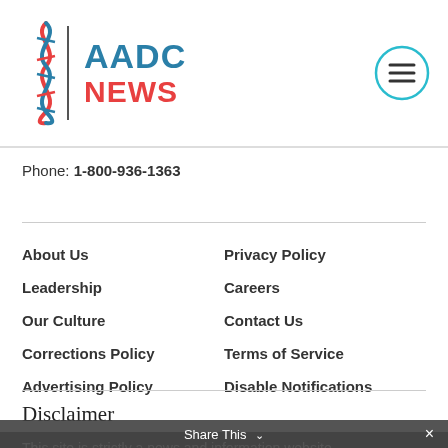[Figure (logo): AADC News logo with DNA helix icon on the left and teal/red text reading AADC NEWS]
Phone: 1-800-936-1363
About Us
Privacy Policy
Leadership
Careers
Our Culture
Contact Us
Corrections Policy
Terms of Service
Advertising Policy
Disable Notifications
Disclaimer
This site is strictly a news and information website about the disease. It does not provide medical